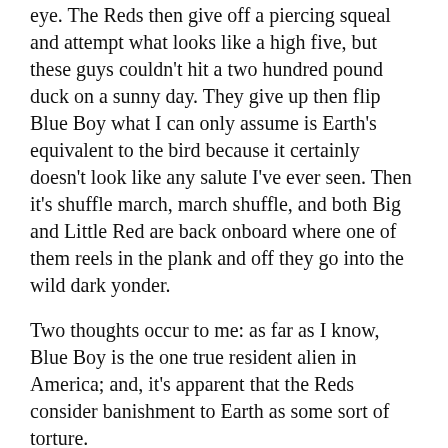eye. The Reds then give off a piercing squeal and attempt what looks like a high five, but these guys couldn't hit a two hundred pound duck on a sunny day. They give up then flip Blue Boy what I can only assume is Earth's equivalent to the bird because it certainly doesn't look like any salute I've ever seen. Then it's shuffle march, march shuffle, and both Big and Little Red are back onboard where one of them reels in the plank and off they go into the wild dark yonder.
Two thoughts occur to me: as far as I know, Blue Boy is the one true resident alien in America; and, it's apparent that the Reds consider banishment to Earth as some sort of torture.
Gee, and I thought my life reeked.
The End
Bio: April Winters hopes to help people forget troubles through her stories, even if it's only for a while. Her other works can be read at The Dead Mule School of Southern Literature, Linguistic Erosion, The Short Humour Site, The Story Shack, and here at Short-Story Me.